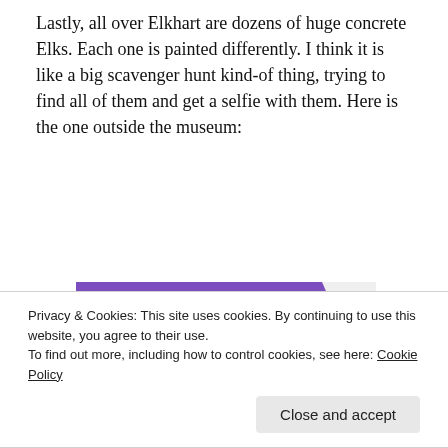Lastly, all over Elkhart are dozens of huge concrete Elks. Each one is painted differently. I think it is like a big scavenger hunt kind-of thing, trying to find all of them and get a selfie with them. Here is the one outside the museum:
[Figure (screenshot): WooCommerce advertisement banner with purple header containing the WooCommerce logo, a teal/green triangle on the left, a light blue arc on the bottom right, and text 'How to start selling subscriptions online']
Privacy & Cookies: This site uses cookies. By continuing to use this website, you agree to their use.
To find out more, including how to control cookies, see here: Cookie Policy
Close and accept